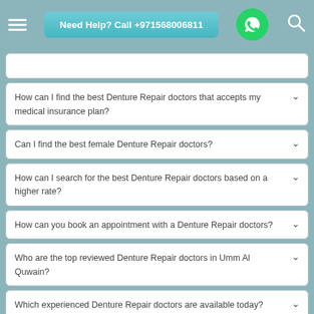Need Help? Call +971568006811
How can I find the best Denture Repair doctors that accepts my medical insurance plan?
Can I find the best female Denture Repair doctors?
How can I search for the best Denture Repair doctors based on a higher rate?
How can you book an appointment with a Denture Repair doctors?
Who are the top reviewed Denture Repair doctors in Umm Al Quwain?
Which experienced Denture Repair doctors are available today?